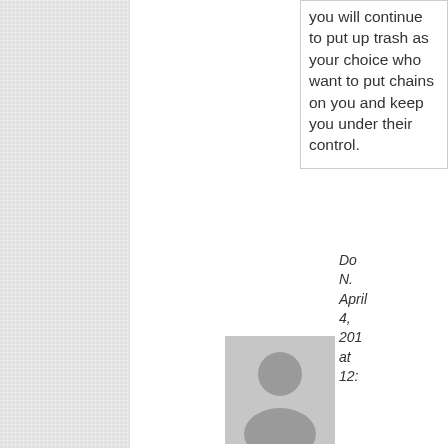you will continue to put up trash as your choice who want to put chains on you and keep you under their control.
[Figure (photo): Generic user avatar placeholder image showing a person silhouette in gray]
Do N. April 4, 2013 at 12: